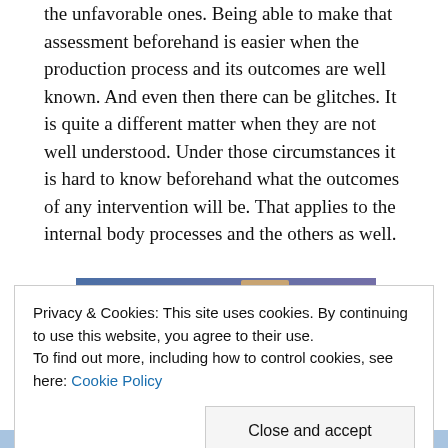the unfavorable ones. Being able to make that assessment beforehand is easier when the production process and its outcomes are well known. And even then there can be glitches. It is quite a different matter when they are not well understood. Under those circumstances it is hard to know beforehand what the outcomes of any intervention will be. That applies to the internal body processes and the others as well.
[Figure (photo): Partial view of an image with blue-purple gradient background and a small tan/brown rectangular element visible at the top]
Privacy & Cookies: This site uses cookies. By continuing to use this website, you agree to their use.
To find out more, including how to control cookies, see here: Cookie Policy
[Close and accept button]